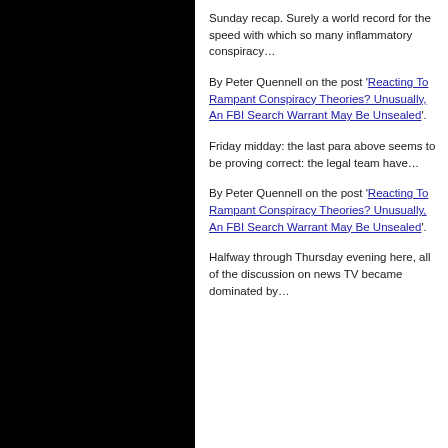Sunday recap. Surely a world record for the speed with which so many inflammatory conspiracy…
By Peter Quennell on the post 'Reacting To Rampant Conspiracy Theories? Unusually, An FBI Search Warrant May Be Unsealed'.
Friday midday: the last para above seems to be proving correct: the legal team have…
By Peter Quennell on the post 'Reacting To Rampant Conspiracy Theories? Unusually, An FBI Search Warrant May Be Unsealed'.
Halfway through Thursday evening here, all of the discussion on news TV became dominated by…